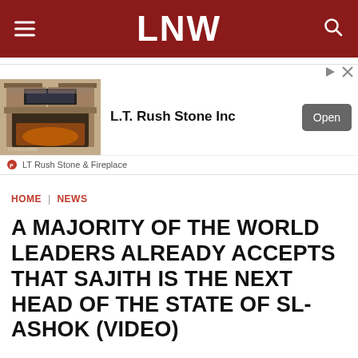LNW
[Figure (other): Advertisement banner for L.T. Rush Stone Inc showing a stone fireplace interior. Includes an 'Open' button and footer with 'LT Rush Stone & Fireplace' branding.]
HOME | NEWS
A MAJORITY OF THE WORLD LEADERS ALREADY ACCEPTS THAT SAJITH IS THE NEXT HEAD OF THE STATE OF SL- ASHOK (VIDEO)